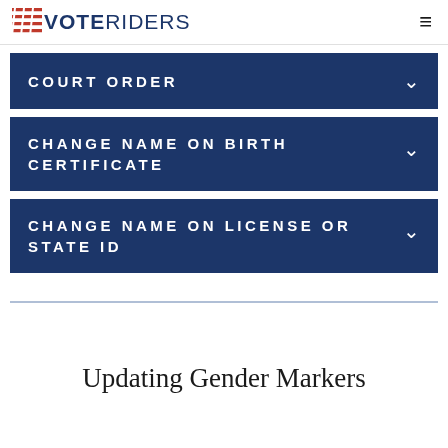VoteRiders
COURT ORDER
CHANGE NAME ON BIRTH CERTIFICATE
CHANGE NAME ON LICENSE OR STATE ID
Updating Gender Markers